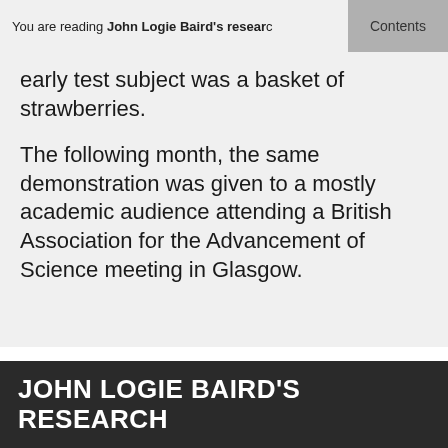You are reading John Logie Baird's research
early test subject was a basket of strawberries.
The following month, the same demonstration was given to a mostly academic audience attending a British Association for the Advancement of Science meeting in Glasgow.
JOHN LOGIE BAIRD'S RESEARCH
The early experiments did not produce a viable colour system but, undeterred, Baird continued his research in the late 1930s by financing it from his own